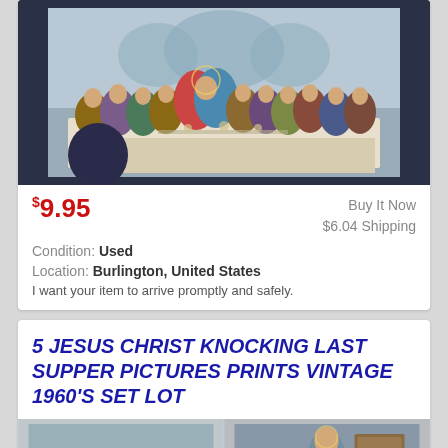[Figure (photo): The Last Supper painting/print on dark navy background]
$9.95
Buy It Now
$6.04 Shipping
Condition: Used
Location: Burlington, United States
I want your item to arrive promptly and safely.
5 JESUS CHRIST KNOCKING LAST SUPPER PICTURES PRINTS VINTAGE 1960'S SET LOT
[Figure (photo): Two religious prints side by side - Last Supper on left, Jesus portrait on right]